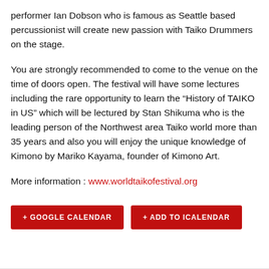performer Ian Dobson who is famous as Seattle based percussionist will create new passion with Taiko Drummers on the stage.
You are strongly recommended to come to the venue on the time of doors open. The festival will have some lectures including the rare opportunity to learn the “History of TAIKO in US” which will be lectured by Stan Shikuma who is the leading person of the Northwest area Taiko world more than 35 years and also you will enjoy the unique knowledge of Kimono by Mariko Kayama, founder of Kimono Art.
More information : www.worldtaikofestival.org
+ GOOGLE CALENDAR
+ ADD TO ICALENDAR